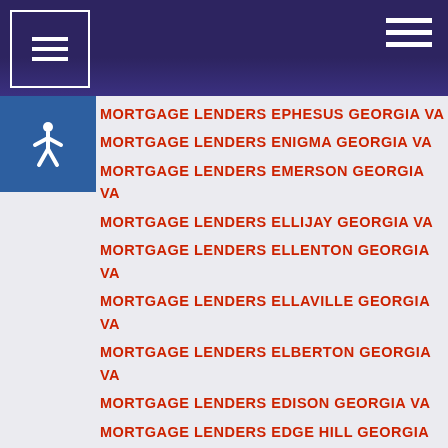Navigation header with menu icons
MORTGAGE LENDERS EPHESUS GEORGIA VA
MORTGAGE LENDERS ENIGMA GEORGIA VA
MORTGAGE LENDERS EMERSON GEORGIA VA
MORTGAGE LENDERS ELLIJAY GEORGIA VA
MORTGAGE LENDERS ELLENTON GEORGIA VA
MORTGAGE LENDERS ELLAVILLE GEORGIA VA
MORTGAGE LENDERS ELBERTON GEORGIA VA
MORTGAGE LENDERS EDISON GEORGIA VA
MORTGAGE LENDERS EDGE HILL GEORGIA VA
MORTGAGE LENDERS EATONTON GEORGIA VA
MORTGAGE LENDERS EASTMAN GEORGIA VA
MORTGAGE LENDERS EAST POINT GEORGIA VA
MORTGAGE LENDERS EAST ELLIJAY GEORGIA VA
MORTGAGE LENDERS EAST DUBLIN GEORGIA VA
MORTGAGE LENDERS DU PONT GEORGIA VA
MORTGAGE LENDERS DUNWOODY GEORGIA VA